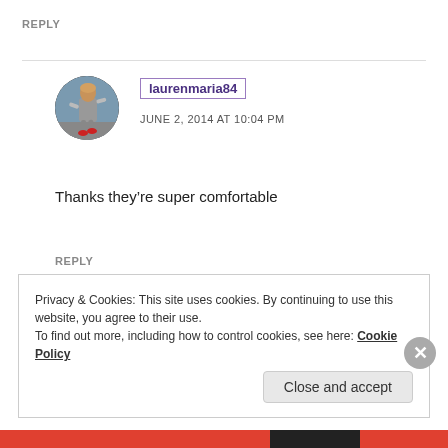REPLY
[Figure (photo): Circular avatar photo of a person walking outdoors, wearing a grey outfit and red shoes.]
laurenmaria84
JUNE 2, 2014 AT 10:04 PM
Thanks they’re super comfortable
REPLY
Privacy & Cookies: This site uses cookies. By continuing to use this website, you agree to their use.
To find out more, including how to control cookies, see here: Cookie Policy
Close and accept